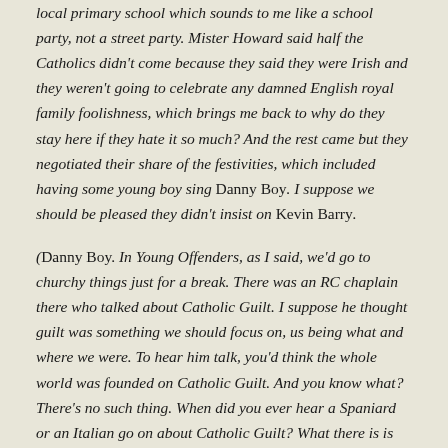local primary school which sounds to me like a school party, not a street party. Mister Howard said half the Catholics didn't come because they said they were Irish and they weren't going to celebrate any damned English royal family foolishness, which brings me back to why do they stay here if they hate it so much? And the rest came but they negotiated their share of the festivities, which included having some young boy sing Danny Boy. I suppose we should be pleased they didn't insist on Kevin Barry.
(Danny Boy. In Young Offenders, as I said, we'd go to churchy things just for a break. There was an RC chaplain there who talked about Catholic Guilt. I suppose he thought guilt was something we should focus on, us being what and where we were. To hear him talk, you'd think the whole world was founded on Catholic Guilt. And you know what? There's no such thing. When did you ever hear a Spaniard or an Italian go on about Catholic Guilt? What there is is Irish Guilt. Listen to Danny Boy and you'll see. It's supposed to be a mother or a father singing to their son who is off to some place with